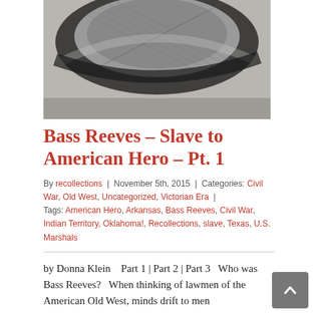[Figure (photo): Black and white close-up photograph of a hat brim, showing the interior of the hat against a decorative background.]
Bass Reeves – Slave to American Hero – Pt. 1
By recollections | November 5th, 2015 | Categories: Civil War, Old West, Uncategorized, Victorian Era | Tags: American Hero, Arkansas, Bass Reeves, Civil War, Indian Territory, Oklahoma!, Recollections, slave, Texas, U.S. Marshals
by Donna Klein   Part 1 | Part 2 | Part 3   Who was Bass Reeves?   When thinking of lawmen of the American Old West, minds drift to men